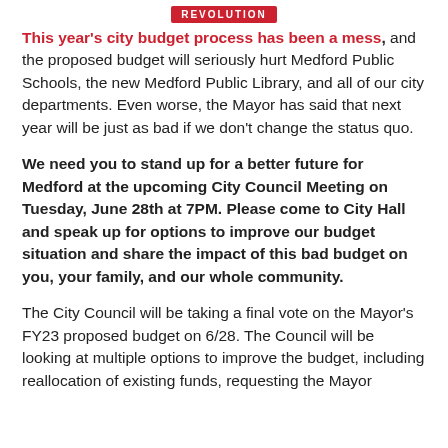REVOLUTION
This year's city budget process has been a mess, and the proposed budget will seriously hurt Medford Public Schools, the new Medford Public Library, and all of our city departments. Even worse, the Mayor has said that next year will be just as bad if we don't change the status quo.
We need you to stand up for a better future for Medford at the upcoming City Council Meeting on Tuesday, June 28th at 7PM. Please come to City Hall and speak up for options to improve our budget situation and share the impact of this bad budget on you, your family, and our whole community.
The City Council will be taking a final vote on the Mayor's FY23 proposed budget on 6/28. The Council will be looking at multiple options to improve the budget, including reallocation of existing funds, requesting the Mayor